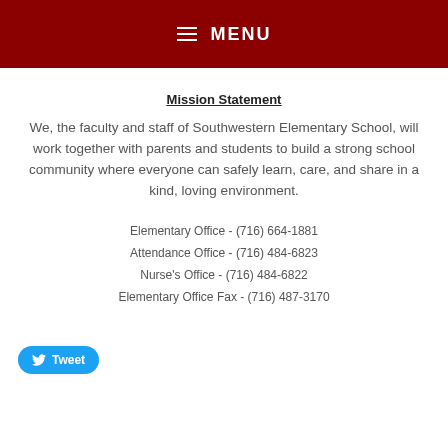≡ MENU
Mission Statement
We, the faculty and staff of Southwestern Elementary School, will work together with parents and students to build a strong school community where everyone can safely learn, care, and share in a kind, loving environment.
Elementary Office - (716) 664-1881
Attendance Office - (716) 484-6823
Nurse's Office - (716) 484-6822
Elementary Office Fax - (716) 487-3170
Tweet